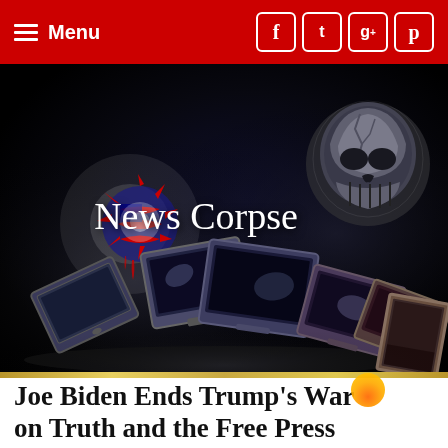Menu
[Figure (illustration): News Corpse website banner: dark background with American flag splatter art on the left, 'News Corpse' text in the center, an X-ray skull on the right, and a pile of smashed/toppled television monitors at the bottom.]
Joe Biden Ends Trump's War on Truth and the Free Press